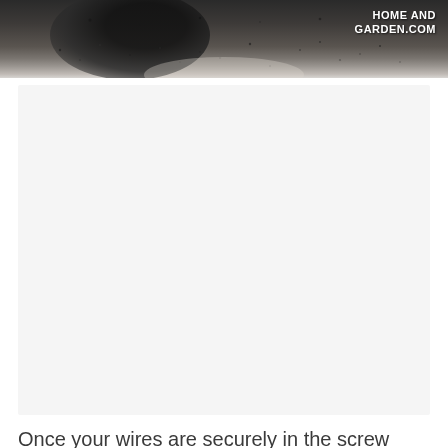[Figure (photo): Close-up photo of a dark metal surface (likely an electrical screw terminal or junction), with a speckled granite-like texture. A dark rounded object is partially visible at the top left. The website watermark 'HOME AND GARDEN.COM' appears in white text at the top right.]
[Figure (photo): Large light gray/white rectangular placeholder image area (advertisement or image not loaded).]
Once your wires are securely in the screw terminals, double check that you have the colored